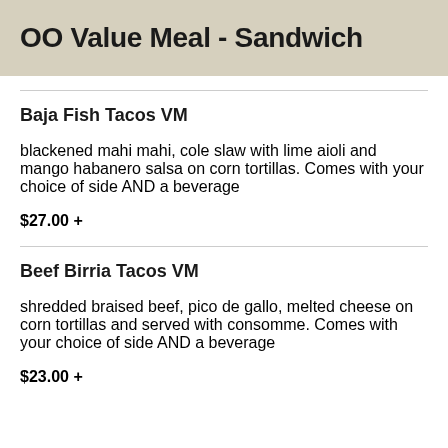OO Value Meal - Sandwich
Baja Fish Tacos VM
blackened mahi mahi, cole slaw with lime aioli and mango habanero salsa on corn tortillas. Comes with your choice of side AND a beverage
$27.00 +
Beef Birria Tacos VM
shredded braised beef, pico de gallo, melted cheese on corn tortillas and served with consomme. Comes with your choice of side AND a beverage
$23.00 +